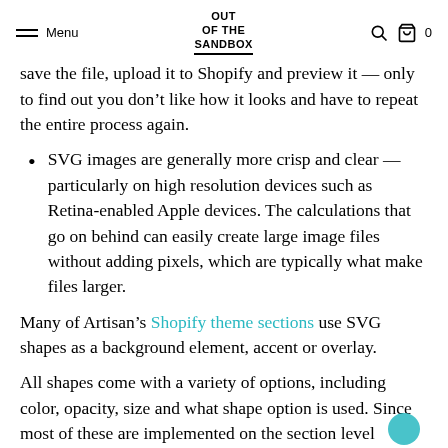Menu | OUT OF THE SANDBOX | 0
save the file, upload it to Shopify and preview it — only to find out you don't like how it looks and have to repeat the entire process again.
SVG images are generally more crisp and clear — particularly on high resolution devices such as Retina-enabled Apple devices. The calculations that go on behind can easily create large image files without adding pixels, which are typically what make files larger.
Many of Artisan's Shopify theme sections use SVG shapes as a background element, accent or overlay.
All shapes come with a variety of options, including color, opacity, size and what shape option is used. Since most of these are implemented on the section level